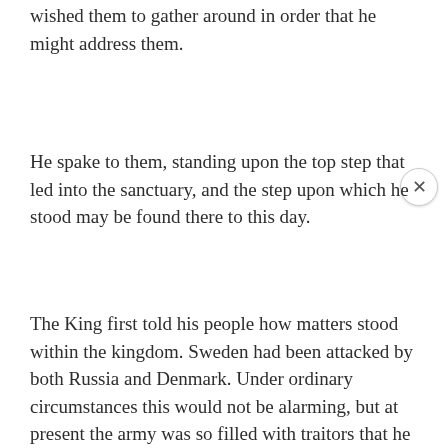wished them to gather around in order that he might address them.
He spake to them, standing upon the top step that led into the sanctuary, and the step upon which he stood may be found there to this day.
The King first told his people how matters stood within the kingdom. Sweden had been attacked by both Russia and Denmark. Under ordinary circumstances this would not be alarming, but at present the army was so filled with traitors that he could hardly depend on it. He saw, therefore, no alternative but to go out himself to